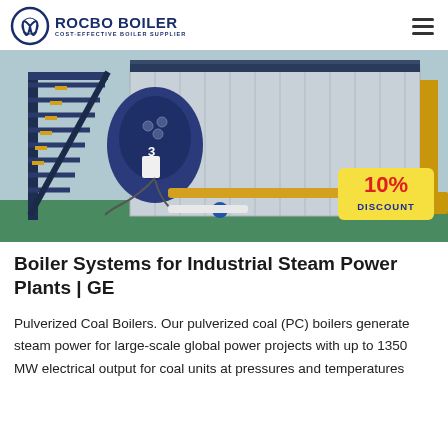ROCBO BOILER — COST-EFFECTIVE BOILER SUPPLIER
[Figure (photo): Industrial coal boiler system inside a factory, featuring a large blue boiler unit with circular front panel, metal staircase, yellow piping, and a '10% DISCOUNT' badge overlay in the bottom-right corner.]
Boiler Systems for Industrial Steam Power Plants | GE
Pulverized Coal Boilers. Our pulverized coal (PC) boilers generate steam power for large-scale global power projects with up to 1350 MW electrical output for coal units at pressures and temperatures